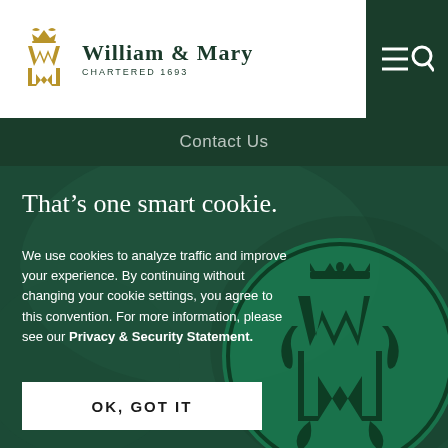[Figure (logo): William & Mary university logo with golden monogram and text 'WILLIAM & MARY CHARTERED 1693']
Contact Us
That's one smart cookie.
We use cookies to analyze traffic and improve your experience. By continuing without changing your cookie settings, you agree to this convention. For more information, please see our Privacy & Security Statement.
OK, GOT IT